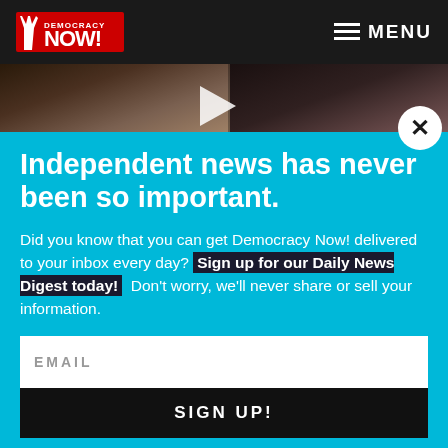Democracy Now! — MENU
[Figure (screenshot): Video thumbnail showing two people's faces, partially visible, dark background with a play button indicator in the center]
Independent news has never been so important.
Did you know that you can get Democracy Now! delivered to your inbox every day? Sign up for our Daily News Digest today! Don't worry, we'll never share or sell your information.
EMAIL
SIGN UP!